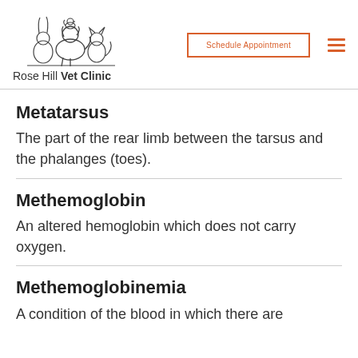Rose Hill Vet Clinic — Schedule Appointment
Metatarsus
The part of the rear limb between the tarsus and the phalanges (toes).
Methemoglobin
An altered hemoglobin which does not carry oxygen.
Methemoglobinemia
A condition of the blood in which there are large amounts of methemoglobin.